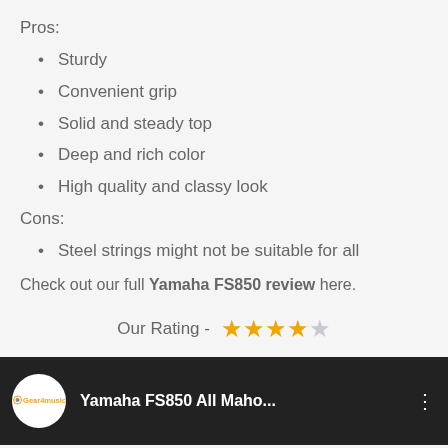Pros:
Sturdy
Convenient grip
Solid and steady top
Deep and rich color
High quality and classy look
Cons:
Steel strings might not be suitable for all
Check out our full Yamaha FS850 review here.
Our Rating - ★★★★☆
[Figure (screenshot): YouTube video thumbnail for Yamaha FS850 All Maho... from Gear4music channel]